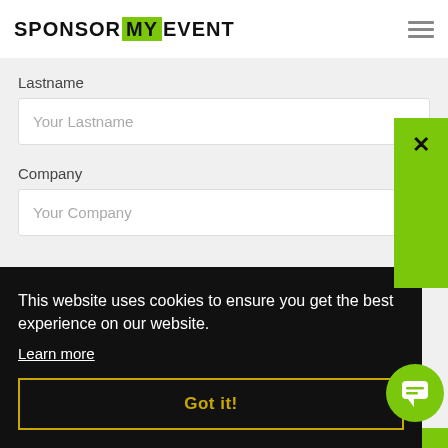SPONSOR MY EVENT
Lastname
Your Lastname
Company
Your Company
This website uses cookies to ensure you get the best experience on our website.
Learn more
Got it!